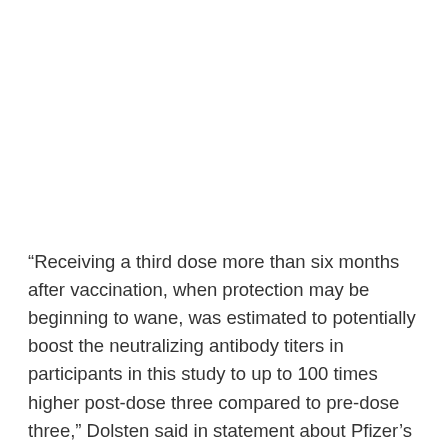“Receiving a third dose more than six months after vaccination, when protection may be beginning to wane, was estimated to potentially boost the neutralizing antibody titers in participants in this study to up to 100 times higher post-dose three compared to pre-dose three,” Dolsten said in statement about Pfizer’s findings “These preliminary data are very encouraging as Delta continues to spread.”